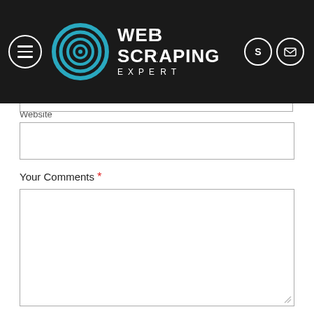[Figure (logo): Web Scraping Expert logo with teal concentric circles icon and white text on dark background, with menu hamburger icon on left and Skype/email icons on right]
Email
Website
Your Comments *
Add Comment